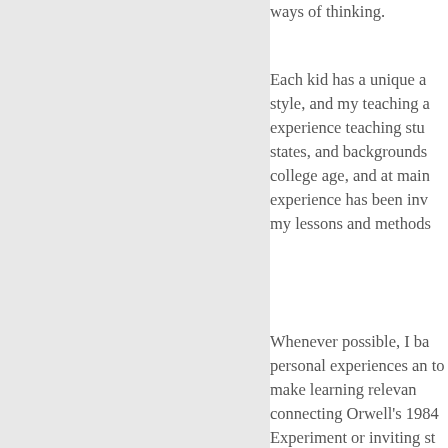ways of thinking.
Each kid has a unique a... style, and my teaching a... experience teaching stu... states, and backgrounds... college age, and at main... experience has been inv... my lessons and methods...
Whenever possible, I ba... personal experiences an... to make learning relevan... connecting Orwell's 1984... Experiment or inviting st... based on a scene from M... Inishmaan. I teach vocal... of each student's writing... applicable. My approach... and I equip students wit...